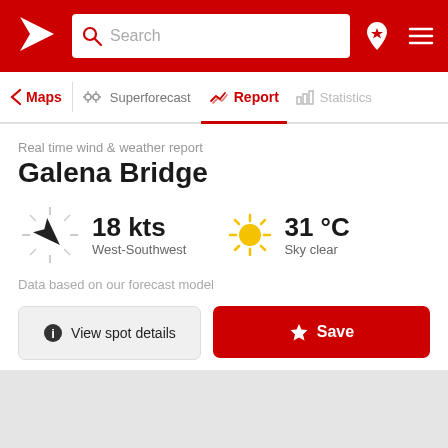Search
Maps | Superforecast | Report | Statistics
Real time wind & weather report
Galena Bridge
18 kts West-Southwest
31 °C Sky clear
Data based on our forecast model
View spot details
Save